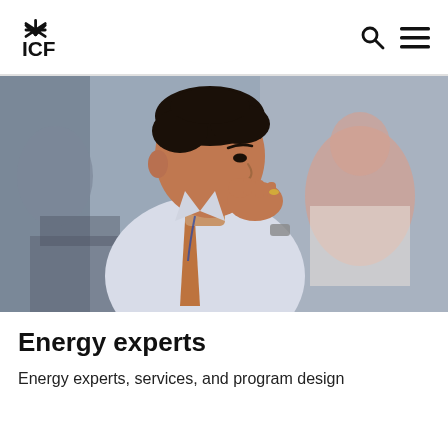ICF logo with search and menu icons
[Figure (photo): A man in a white dress shirt and orange tie, seated and looking thoughtfully to the side with his hand raised near his chin. A blurred woman is visible in the background. The setting appears to be a meeting or conference room.]
Energy experts
Energy experts, services, and program design